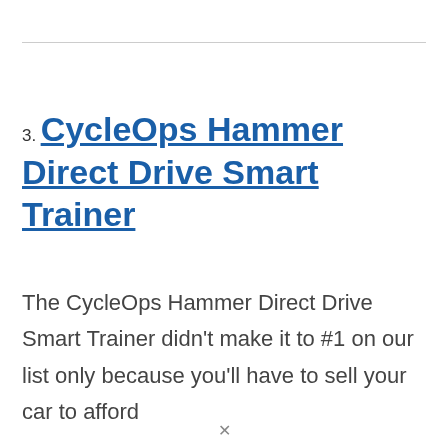3. CycleOps Hammer Direct Drive Smart Trainer
The CycleOps Hammer Direct Drive Smart Trainer didn't make it to #1 on our list only because you'll have to sell your car to afford